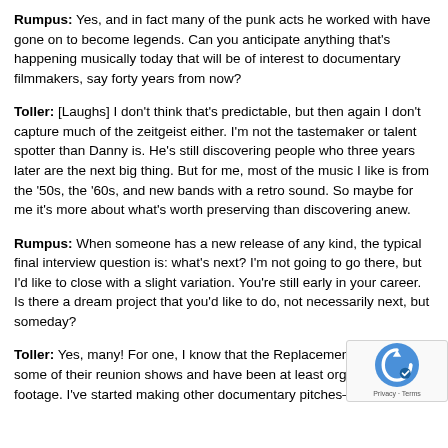Rumpus: Yes, and in fact many of the punk acts he worked with have gone on to become legends. Can you anticipate anything that's happening musically today that will be of interest to documentary filmmakers, say forty years from now?
Toller: [Laughs] I don't think that's predictable, but then again I don't capture much of the zeitgeist either. I'm not the tastemaker or talent spotter than Danny is. He's still discovering people who three years later are the next big thing. But for me, most of the music I like is from the '50s, the '60s, and new bands with a retro sound. So maybe for me it's more about what's worth preserving than discovering anew.
Rumpus: When someone has a new release of any kind, the typical final interview question is: what's next? I'm not going to go there, but I'd like to close with a slight variation. You're still early in your career. Is there a dream project that you'd like to do, not necessarily next, but someday?
Toller: Yes, many! For one, I know that the Replacements ha... some of their reunion shows and have been at least organizi... footage. I've started making other documentary pitches—we h...